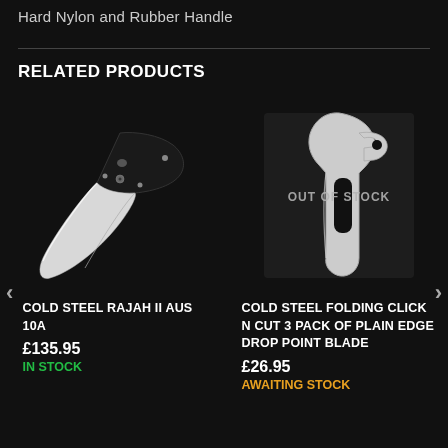Hard Nylon and Rubber Handle
RELATED PRODUCTS
[Figure (photo): Cold Steel Rajah II AUS 10A folding knife with black handle, shown open on black background]
COLD STEEL RAJAH II AUS 10A
£135.95
IN STOCK
[Figure (photo): Cold Steel Folding Click N Cut 3 Pack of Plain Edge Drop Point Blade, shown on black background with OUT OF STOCK overlay]
COLD STEEL FOLDING CLICK N CUT 3 PACK OF PLAIN EDGE DROP POINT BLADE
£26.95
AWAITING STOCK